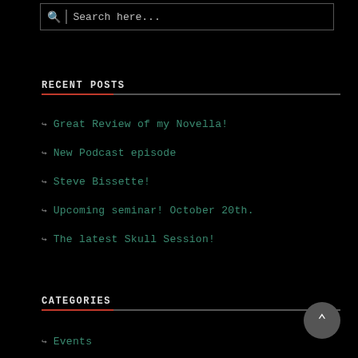[Figure (other): Search box with magnifying glass icon and placeholder text 'Search here...']
RECENT POSTS
Great Review of my Novella!
New Podcast episode
Steve Bissette!
Upcoming seminar! October 20th.
The latest Skull Session!
CATEGORIES
Events